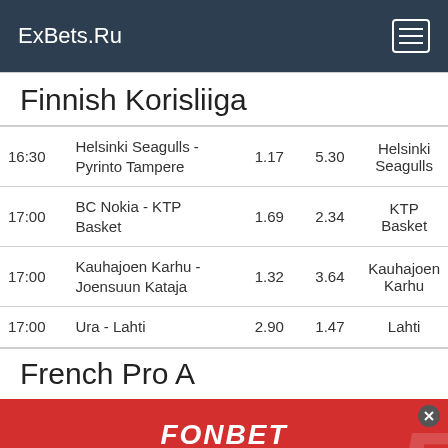ExBets.Ru
Finnish Korisliiga
| Time | Match | Odds 1 | Odds 2 | Pick |
| --- | --- | --- | --- | --- |
| 16:30 | Helsinki Seagulls - Pyrinto Tampere | 1.17 | 5.30 | Helsinki Seagulls |
| 17:00 | BC Nokia - KTP Basket | 1.69 | 2.34 | KTP Basket |
| 17:00 | Kauhajoen Karhu - Joensuun Kataja | 1.32 | 3.64 | Kauhajoen Karhu |
| 17:00 | Ura - Lahti | 2.90 | 1.47 | Lahti |
French Pro A
[Figure (infographic): FONBET advertisement banner in red with FONBET logo, ПОЛУЧИТЬ button, 18+ label, and Russian text *ПО РЕЗУЛЬТАТАМ RUSSIA... GAMING]